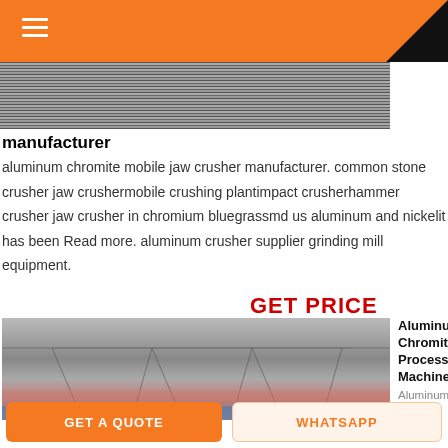[Figure (photo): Grainy overhead photo of a crusher/mining conveyor belt surface]
manufacturer
aluminum chromite mobile jaw crusher manufacturer. common stone crusher jaw crushermobile crushing plantimpact crusherhammer crusher jaw crusher in chromium bluegrassmd us aluminum and nickelit has been Read more. aluminum crusher supplier grinding mill equipment.
GET PRICE
[Figure (photo): Interior of a large industrial processing facility with arched steel truss roof structure]
Aluminum Chromite Processing Machine
Aluminum
GET A QUOTE
WHATSAPP